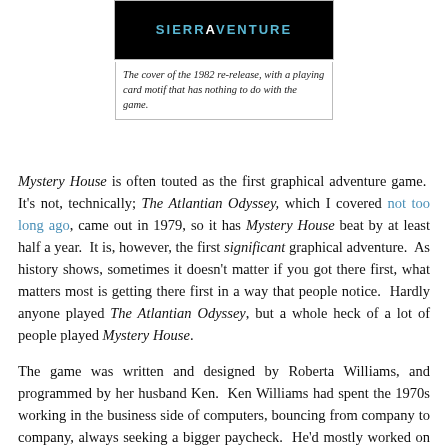[Figure (photo): Black background box showing the SierrAventure logo in blue text — the cover of the 1982 re-release of Mystery House.]
The cover of the 1982 re-release, with a playing card motif that has nothing to do with the game.
Mystery House is often touted as the first graphical adventure game. It's not, technically; The Atlantian Odyssey, which I covered not too long ago, came out in 1979, so it has Mystery House beat by at least half a year. It is, however, the first significant graphical adventure. As history shows, sometimes it doesn't matter if you got there first, what matters most is getting there first in a way that people notice. Hardly anyone played The Atlantian Odyssey, but a whole heck of a lot of people played Mystery House.
The game was written and designed by Roberta Williams, and programmed by her husband Ken. Ken Williams had spent the 1970s working in the business side of computers, bouncing from company to company, always seeking a bigger paycheck. He'd mostly worked on mainframes during that time, and he bought an Apple II with the plan of creating a version of the FORTRAN programming language that